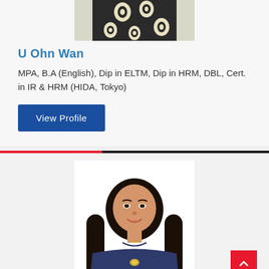[Figure (photo): Partial photo of a person in traditional patterned clothing, cropped at the top]
U Ohn Wan
MPA, B.A (English), Dip in ELTM, Dip in HRM, DBL, Cert. in IR & HRM (HIDA, Tokyo)
View Profile
[Figure (photo): Portrait photo of a young woman with long dark hair, smiling, wearing a navy blue traditional dress with a brooch]